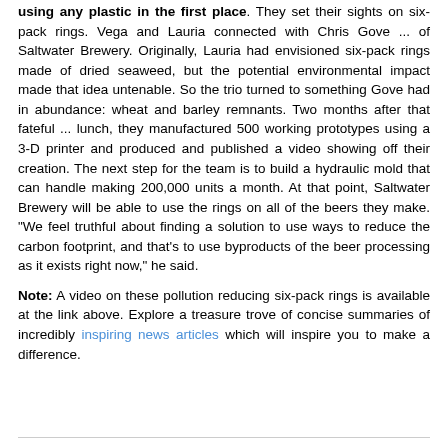using any plastic in the first place. They set their sights on six-pack rings. Vega and Lauria connected with Chris Gove ... of Saltwater Brewery. Originally, Lauria had envisioned six-pack rings made of dried seaweed, but the potential environmental impact made that idea untenable. So the trio turned to something Gove had in abundance: wheat and barley remnants. Two months after that fateful ... lunch, they manufactured 500 working prototypes using a 3-D printer and produced and published a video showing off their creation. The next step for the team is to build a hydraulic mold that can handle making 200,000 units a month. At that point, Saltwater Brewery will be able to use the rings on all of the beers they make. "We feel truthful about finding a solution to use ways to reduce the carbon footprint, and that's to use byproducts of the beer processing as it exists right now," he said.
Note: A video on these pollution reducing six-pack rings is available at the link above. Explore a treasure trove of concise summaries of incredibly inspiring news articles which will inspire you to make a difference.